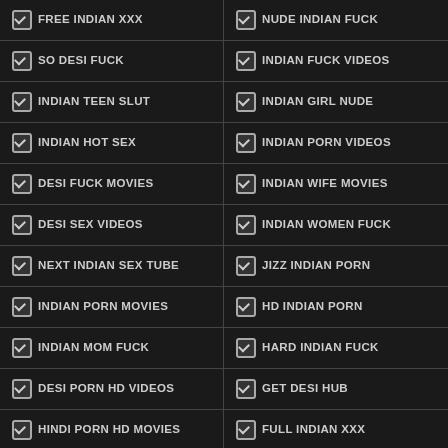FREE INDIAN XXX
NUDE INDIAN FUCK
SO DESI FUCK
INDIAN FUCK VIDEOS
INDIAN TEEN SLUT
INDIAN GIRL NUDE
INDIAN HOT SEX
INDIAN PORN VIDEOS
DESI FUCK MOVIES
INDIAN WIFE MOVIES
DESI SEX VIDEOS
INDIAN WOMEN FUCK
NEXT INDIAN SEX TUBE
JIZZ INDIAN PORN
INDIAN PORN MOVIES
HD INDIAN PORN
INDIAN MOM FUCK
HARD INDIAN FUCK
DESI PORN HD VIDEOS
GET DESI HUB
HINDI PORN HD MOVIES
FULL INDIAN XXX